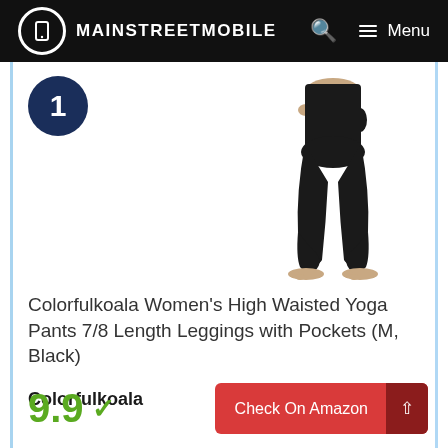MAINSTREETMOBILE
[Figure (photo): Woman wearing black high-waisted yoga leggings/pants, shown from waist down, barefoot, with hands at sides/pockets]
Colorfulkoala Women's High Waisted Yoga Pants 7/8 Length Leggings with Pockets (M, Black)
Colorfulkoala
9.9 ✓
Check On Amazon